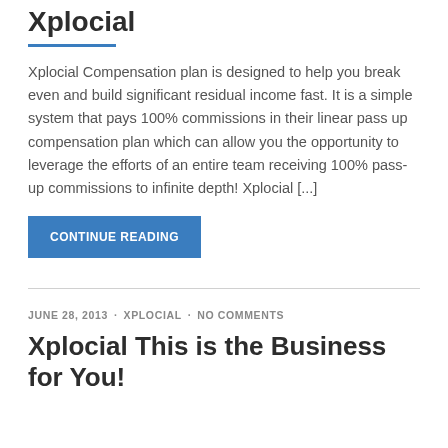Xplocial
Xplocial Compensation plan is designed to help you break even and build significant residual income fast. It is a simple system that pays 100% commissions in their linear pass up compensation plan which can allow you the opportunity to leverage the efforts of an entire team receiving 100% pass-up commissions to infinite depth! Xplocial [...]
CONTINUE READING
JUNE 28, 2013 · XPLOCIAL · NO COMMENTS
Xplocial This is the Business for You!